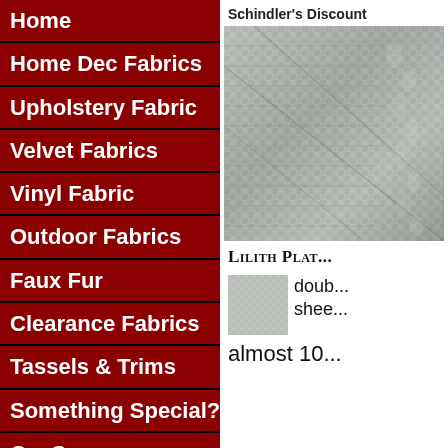Schindler's Discount
Home
Home Dec Fabrics
Upholstery Fabric
Velvet Fabrics
Vinyl Fabric
Outdoor Fabrics
Faux Fur
Clearance Fabrics
Tassels & Trims
Something Special?
O... S...
[Figure (photo): Close-up photo of woven fabric texture, silver/grey tones with visible weave pattern]
Lilith Pla...
[Figure (photo): Small thumbnail of grey/silver fabric swatch]
doub... shee...
almost 10...